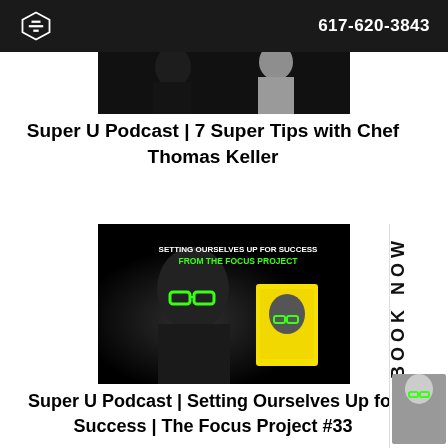617-620-3843
[Figure (photo): Photo thumbnail showing Chef Thomas Keller and another person, dark background]
Super U Podcast | 7 Super Tips with Chef Thomas Keller
[Figure (photo): Promotional image for The Focus Project showing man with green glasses and book cover, text: SETTING OURSELVES UP FOR SUCCESS FROM THE FOCUS PROJECT]
Super U Podcast | Setting Ourselves Up for Success | The Focus Project #33